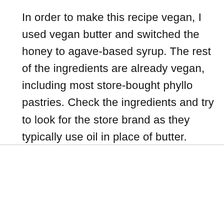In order to make this recipe vegan, I used vegan butter and switched the honey to agave-based syrup. The rest of the ingredients are already vegan, including most store-bought phyllo pastries. Check the ingredients and try to look for the store brand as they typically use oil in place of butter.